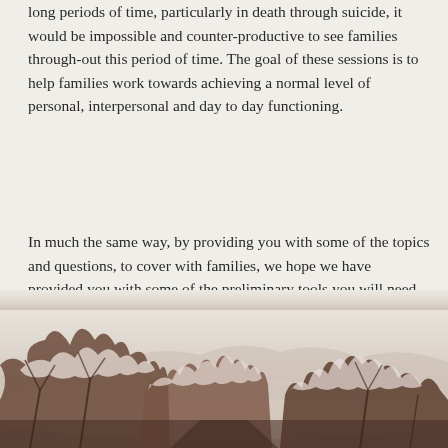long periods of time, particularly in death through suicide, it would be impossible and counter-productive to see families through-out this period of time. The goal of these sessions is to help families work towards achieving a normal level of personal, interpersonal and day to day functioning.
In much the same way, by providing you with some of the topics and questions, to cover with families, we hope we have provided you with some of the preliminary tools you will need to do this work.
[Figure (photo): Winter scene with snow-covered trees along a road, fading from white/light tones at the top to darker tree silhouettes and branches at the bottom of the image.]